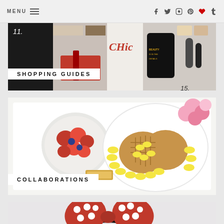MENU | social icons (facebook, twitter, instagram, pinterest, heart, tumblr)
[Figure (photo): Shopping guides banner image showing fashion items including accessories, magazine, phone case with 'BEAUTY IS IN THE DETAILS', numbered items 11 and 15]
SHOPPING GUIDES
[Figure (photo): Collaborations banner image showing a breakfast tray with berries in a bowl, waffles with banana slices on a plate, a granola bar, on a white background with pink roses in the corner]
COLLABORATIONS
[Figure (photo): A red polka-dot sequined Minnie Mouse bow headband held up by a hand against a light gray background]